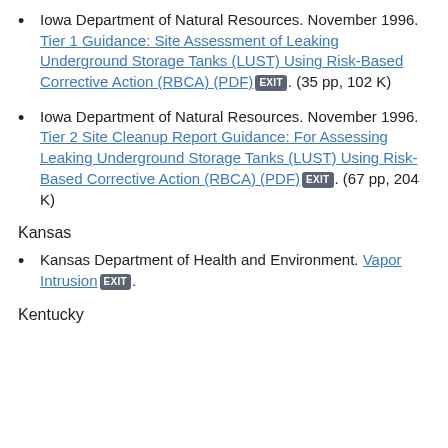Iowa Department of Natural Resources. November 1996. Tier 1 Guidance: Site Assessment of Leaking Underground Storage Tanks (LUST) Using Risk-Based Corrective Action (RBCA) (PDF) EXIT. (35 pp, 102 K)
Iowa Department of Natural Resources. November 1996. Tier 2 Site Cleanup Report Guidance: For Assessing Leaking Underground Storage Tanks (LUST) Using Risk-Based Corrective Action (RBCA) (PDF) EXIT. (67 pp, 204 K)
Kansas
Kansas Department of Health and Environment. Vapor Intrusion EXIT.
Kentucky